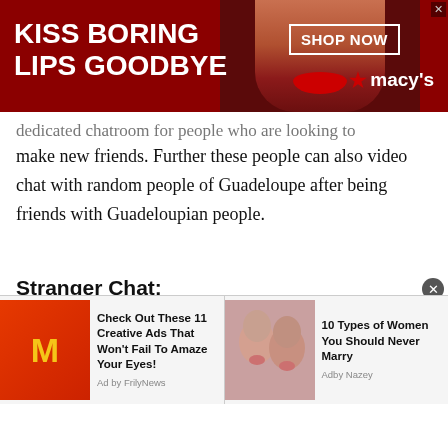[Figure (screenshot): Macy's advertisement banner with red background, woman's face with red lips, 'KISS BORING LIPS GOODBYE' text, 'SHOP NOW' button and Macy's logo]
dedicated chatroom for people who are looking to make new friends. Further these people can also video chat with random people of Guadeloupe after being friends with Guadeloupian people.
Stranger Chat:
Stranger chat is another thing that makes talkwithstranger stand out of the crowd. The stranger chat with people of Guadeloupe is a type of a chatroom where you get to chat with a stranger
[Figure (screenshot): Bottom advertisement bar with two ads: 'Check Out These 11 Creative Ads That Won't Fail To Amaze Your Eyes!' by FrilyNews with McDonald's image, and '10 Types of Women You Should Never Marry' by Adby Nazey with photo of two women]